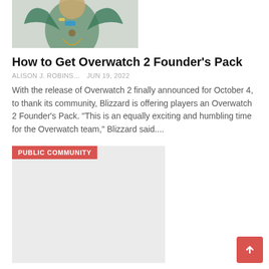[Figure (photo): Partial screenshot of a game character image (Overwatch character), cropped at top of frame]
How to Get Overwatch 2 Founder's Pack
ALISON J. ROBINS...   Jun 19, 2022
With the release of Overwatch 2 finally announced for October 4, to thank its community, Blizzard is offering players an Overwatch 2 Founder's Pack. "This is an equally exciting and humbling time for the Overwatch team," Blizzard said....
[Figure (photo): Card image placeholder with PUBLIC COMMUNITY badge overlay, light grey background]
Pontiac residents will benefit from a new indoor public market thanks to the support of the...
ALISON J. ROBINS...